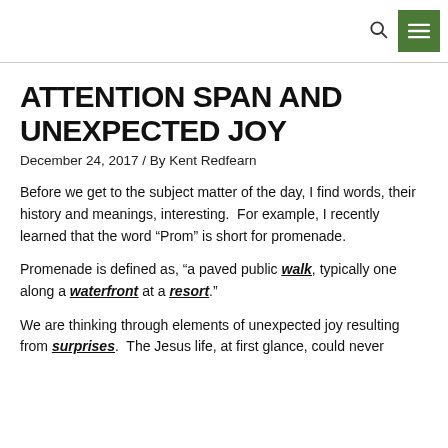ATTENTION SPAN AND UNEXPECTED JOY
December 24, 2017 / By Kent Redfearn
Before we get to the subject matter of the day, I find words, their history and meanings, interesting.  For example, I recently learned that the word “Prom” is short for promenade.
Promenade is defined as, “a paved public walk, typically one along a waterfront at a resort.”
We are thinking through elements of unexpected joy resulting from surprises.  The Jesus life, at first glance, could never